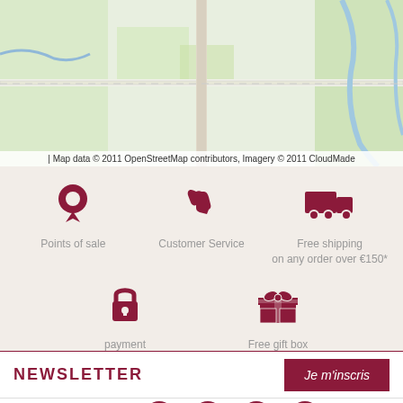[Figure (map): OpenStreetMap map showing a road area with Route d'Angers and D 39 road labels, green areas and blue waterways visible]
| Map data © 2011 OpenStreetMap contributors, Imagery © 2011 CloudMade
[Figure (infographic): Five feature icons with labels: Points of sale (location pin), Customer Service (phone), Free shipping on any order over €150* (truck), payment Secure (lock), Free gift box And samples (gift box)]
NEWSLETTER
Je m'inscris
FOLLOW US